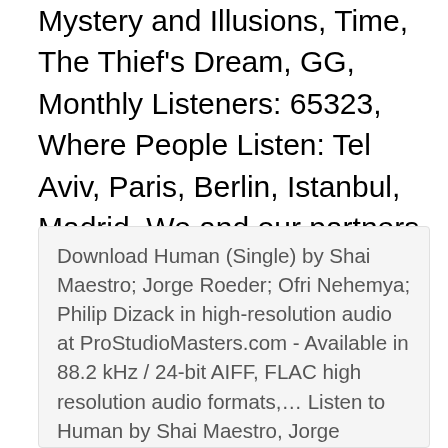Mystery and Illusions, Time, The Thief's Dream, GG, Monthly Listeners: 65323, Where People Listen: Tel Aviv, Paris, Berlin, Istanbul, Madrid. We and our partners use cookies to personalize your experience, to show you ads based on your interests, and for measurement and analytics purposes.
Download Human (Single) by Shai Maestro; Jorge Roeder; Ofri Nehemya; Philip Dizack in high-resolution audio at ProStudioMasters.com - Available in 88.2 kHz / 24-bit AIFF, FLAC high resolution audio formats,… Listen to Human by Shai Maestro, Jorge Roeder, Ofri Nehemya & Philip Dizack on Apple Music.